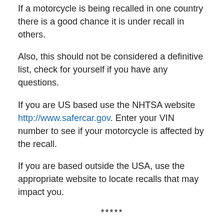If a motorcycle is being recalled in one country there is a good chance it is under recall in others.
Also, this should not be considered a definitive list, check for yourself if you have any questions.
If you are US based use the NHTSA website http://www.safercar.gov. Enter your VIN number to see if your motorcycle is affected by the recall.
If you are based outside the USA, use the appropriate website to locate recalls that may impact you.
*****
Manufacturer Suzuki Motor USA, LLC
Components FUEL SYSTEM, GASOLINE
Summary